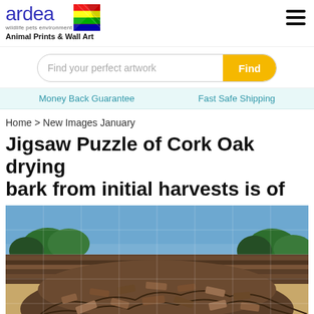ardea wildlife pets environment | Animal Prints & Wall Art
Find your perfect artwork
Money Back Guarantee | Fast Safe Shipping
Home > New Images January
Jigsaw Puzzle of Cork Oak drying bark from initial harvests is of
[Figure (photo): A jigsaw puzzle image of Cork Oak drying bark piled in a large mound outdoors, with trees and blue sky in the background. The bark pieces are layered in a substantial heap in the foreground, with a row of stacked bark visible behind it.]